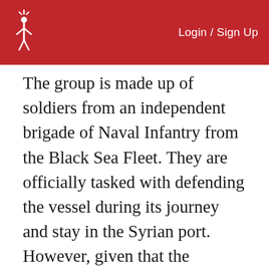Login / Sign Up
The group is made up of soldiers from an independent brigade of Naval Infantry from the Black Sea Fleet. They are officially tasked with defending the vessel during its journey and stay in the Syrian port. However, given that the Kremlin has branded its military intervention, which appears aimed at protecting the Assad regime, as an anti-terrorist campaign against ISIS, the marines' actual mission may be more